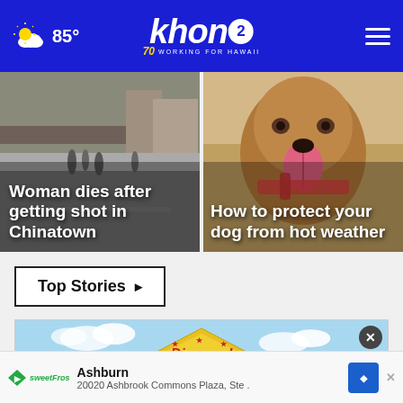khon2 WORKING FOR HAWAII — 85°
[Figure (screenshot): News card: street scene photo with headline 'Woman dies after getting shot in Chinatown']
[Figure (screenshot): News card: dog photo with headline 'How to protect your dog from hot weather']
Top Stories ▶
[Figure (photo): Diamond Bakery advertisement banner with blue sky background]
Ashburn
20020 Ashbrook Commons Plaza, Ste .